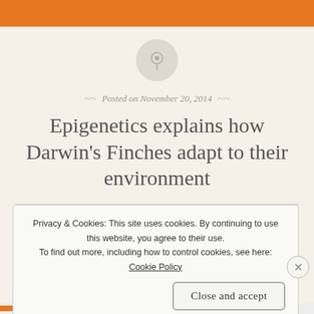[Figure (illustration): A pushpin icon inside a light gray circle]
Posted on November 20, 2014
Epigenetics explains how Darwin's Finches adapt to their environment
Privacy & Cookies: This site uses cookies. By continuing to use this website, you agree to their use.
To find out more, including how to control cookies, see here:
Cookie Policy
Close and accept